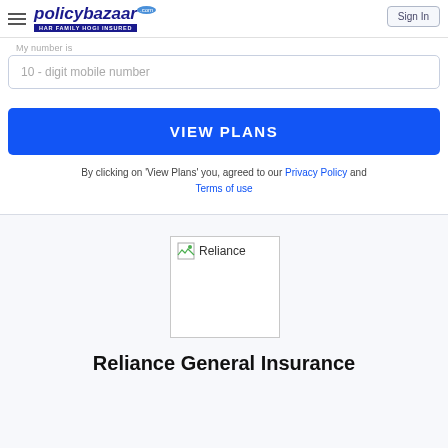policybazaar.com HAR FAMILY HOGI INSURED | Sign In
My number is
10 - digit mobile number
VIEW PLANS
By clicking on 'View Plans' you, agreed to our Privacy Policy and Terms of use
[Figure (logo): Broken image placeholder showing Reliance logo area with image icon and text 'Reliance']
Reliance General Insurance